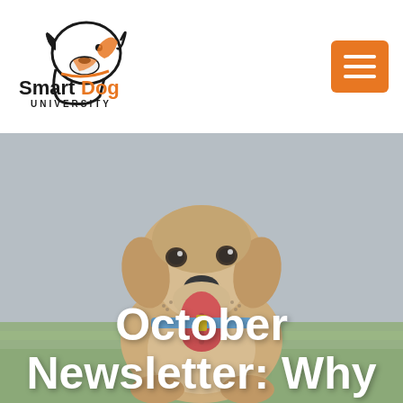[Figure (logo): Smart Dog University logo with black dog silhouette and orange text]
[Figure (photo): A golden/yellow Labrador puppy sitting in a field looking at the camera with tongue out, background is blurred grass and sky]
October Newsletter: Why